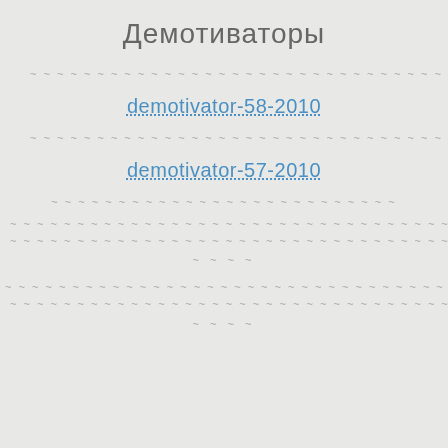Демотиваторы
~ ~ ~ ~ ~ ~ ~ ~ ~ ~ ~ ~ ~ ~ ~ ~ ~ ~ ~ ~ ~ ~ ~ ~ ~ ~ ~ ~ ~ ~ ~ ~ ~ ~
demotivator-58-2010
~ ~ ~ ~ ~ ~ ~ ~ ~ ~ ~ ~ ~ ~ ~ ~ ~ ~ ~ ~ ~ ~ ~ ~ ~ ~ ~ ~ ~ ~ ~ ~ ~ ~
demotivator-57-2010
~ ~ ~ ~ ~ ~ ~ ~ ~ ~ ~ ~ ~ ~ ~ ~ ~ ~ ~ ~ ~ ~ ~ ~ ~ ~
~ ~ ~ ~ ~ ~ ~ ~ ~ ~ ~ ~ ~ ~ ~ ~ ~ ~ ~ ~ ~ ~ ~ ~ ~ ~ ~ ~ ~ ~ ~ ~ ~ ~ ~ ~
~ ~ ~ ~ ~ ~ ~ ~ ~ ~ ~ ~ ~ ~ ~ ~ ~ ~ ~ ~ ~ ~ ~ ~ ~ ~ ~ ~ ~ ~ ~ ~ ~ ~ ~ ~
~ ~ ~ ~
~ ~ ~ ~ ~ ~ ~ ~ ~ ~ ~ ~ ~ ~ ~ ~ ~ ~ ~ ~ ~ ~ ~ ~ ~ ~ ~ ~ ~ ~ ~ ~ ~ ~ ~ ~ ~
~ ~ ~ ~ ~ ~ ~ ~ ~ ~ ~ ~ ~ ~ ~ ~ ~ ~ ~ ~ ~ ~ ~ ~ ~ ~ ~ ~ ~ ~ ~ ~ ~ ~ ~ ~
~ ~ ~ ~